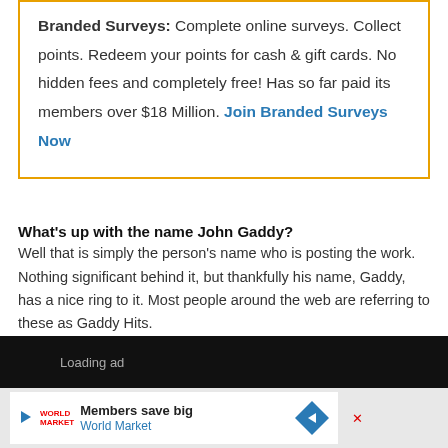Branded Surveys: Complete online surveys. Collect points. Redeem your points for cash & gift cards. No hidden fees and completely free! Has so far paid its members over $18 Million. Join Branded Surveys Now
What's up with the name John Gaddy?
Well that is simply the person's name who is posting the work. Nothing significant behind it, but thankfully his name, Gaddy, has a nice ring to it. Most people around the web are referring to these as Gaddy Hits.
[Figure (screenshot): Black bar with 'Loading ad' text, followed by a bottom advertisement bar for World Market with play icon, logo, 'Members save big' headline, and a blue diamond navigation arrow icon.]